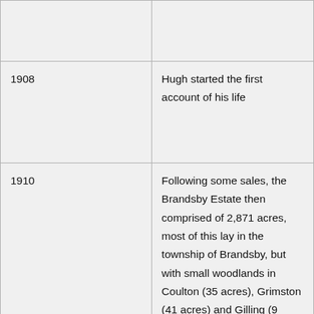| Year | Event |
| --- | --- |
|  |  |
| 1908 | Hugh started the first account of his life |
| 1910 | Following some sales, the Brandsby Estate then comprised of 2,871 acres, most of this lay in the township of Brandsby, but with small woodlands in Coulton (35 acres), Grimston (41 acres) and Gilling (9 acres), |
| 1911 | 1) Alfred Powell designed new wing for Mill Hill. Mill Hill let out. Hugh and family living... |